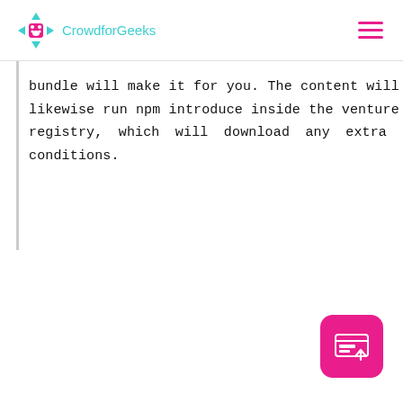CrowdforGeeks
bundle will make it for you. The content will likewise run npm introduce inside the venture registry, which will download any extra conditions.
[Figure (screenshot): Pink rounded square button with a browser/upload icon in white, positioned at bottom right corner]